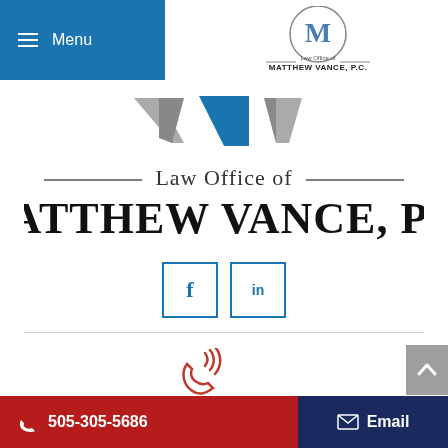Menu
[Figure (logo): Law Office of Matthew Vance P.C. logo — small top right, circular M emblem above text]
[Figure (logo): Law Office of Matthew Vance P.C. main logo — three V chevrons above decorative text reading Law Office of MATTHEW VANCE, P.C.]
[Figure (other): Social media icons: Facebook (f) and LinkedIn (in) in blue outlined squares]
[Figure (other): Red ringing phone icon]
Phone
505-305-5686
505-305-5686   Email